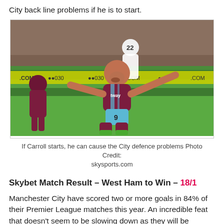City back line problems if he is to start.
[Figure (photo): Football player in West Ham claret and blue kit celebrating on his knees on a green pitch, arms outstretched, with other players and advertising hoardings in the background.]
If Carroll starts, he can cause the City defence problems Photo Credit: skysports.com
Skybet Match Result – West Ham to Win – 18/1
Manchester City have scored two or more goals in 84% of their Premier League matches this year. An incredible feat that doesn't seem to be slowing down as they will be looking